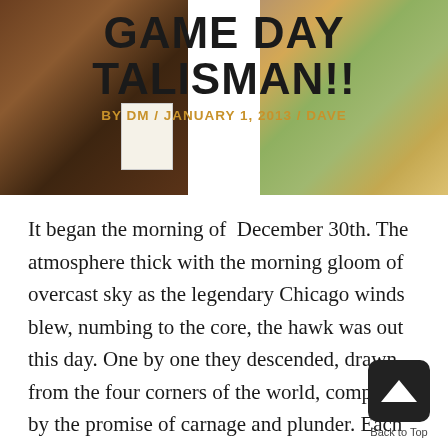[Figure (photo): Two side-by-side photos of board game setup on a table, flanking the title text in the center]
GAME DAY TALISMAN!!
BY DM / JANUARY 1, 2013 / DAVE
It began the morning of  December 30th. The atmosphere thick with the morning gloom of overcast sky as the legendary Chicago winds  blew, numbing to the core, the hawk was out this day. One by one they descended, drawn from the four corners of the world, compelled by the promise of carnage and plunder. Each seeking redemption for defeats past but not forgotten.